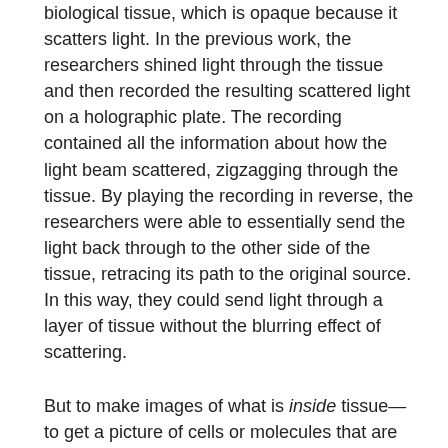biological tissue, which is opaque because it scatters light. In the previous work, the researchers shined light through the tissue and then recorded the resulting scattered light on a holographic plate. The recording contained all the information about how the light beam scattered, zigzagging through the tissue. By playing the recording in reverse, the researchers were able to essentially send the light back through to the other side of the tissue, retracing its path to the original source. In this way, they could send light through a layer of tissue without the blurring effect of scattering.
But to make images of what is inside tissue—to get a picture of cells or molecules that are embedded inside, say, a muscle—the researchers would have to be able to focus a light beam into the tissue. "For biologists, it's most important to know what's happening inside the tissue," Wang says.